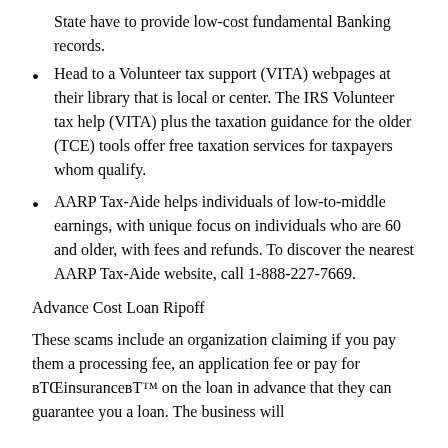State have to provide low-cost fundamental Banking records.
Head to a Volunteer tax support (VITA) webpages at their library that is local or center. The IRS Volunteer tax help (VITA) plus the taxation guidance for the older (TCE) tools offer free taxation services for taxpayers whom qualify.
AARP Tax-Aide helps individuals of low-to-middle earnings, with unique focus on individuals who are 60 and older, with fees and refunds. To discover the nearest AARP Tax-Aide website, call 1-888-227-7669.
Advance Cost Loan Ripoff
These scams include an organization claiming if you pay them a processing fee, an application fee or pay for вЂinsuranceвЂ™ on the loan in advance that they can guarantee you a loan. The business will